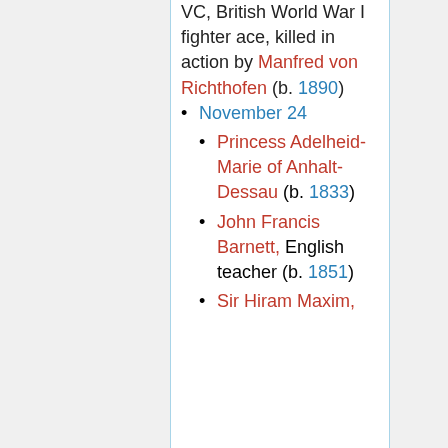VC, British World War I fighter ace, killed in action by Manfred von Richthofen (b. 1890)
November 24
Princess Adelheid-Marie of Anhalt-Dessau (b. 1833)
John Francis Barnett, English teacher (b. 1851)
Sir Hiram Maxim,